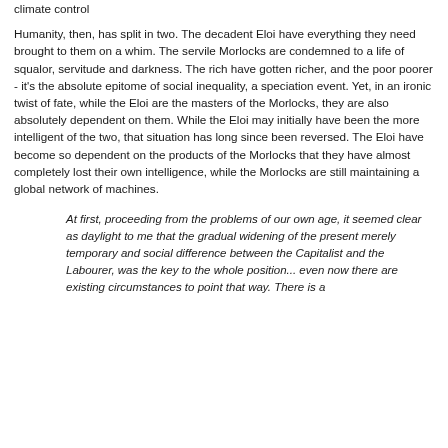climate control
Humanity, then, has split in two. The decadent Eloi have everything they need brought to them on a whim. The servile Morlocks are condemned to a life of squalor, servitude and darkness. The rich have gotten richer, and the poor poorer - it's the absolute epitome of social inequality, a speciation event. Yet, in an ironic twist of fate, while the Eloi are the masters of the Morlocks, they are also absolutely dependent on them. While the Eloi may initially have been the more intelligent of the two, that situation has long since been reversed. The Eloi have become so dependent on the products of the Morlocks that they have almost completely lost their own intelligence, while the Morlocks are still maintaining a global network of machines.
At first, proceeding from the problems of our own age, it seemed clear as daylight to me that the gradual widening of the present merely temporary and social difference between the Capitalist and the Labourer, was the key to the whole position... even now there are existing circumstances to point that way. There is a